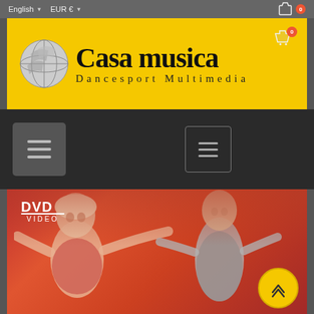English  EUR €  [cart icon] 0
[Figure (logo): Casa Musica Dancesport Multimedia logo on yellow background with globe icon]
[Figure (screenshot): Website navigation section with two hamburger menu buttons on dark background]
[Figure (photo): DVD video product image showing two ballroom dancers (female and male) in performance costumes on a red-toned background, with DVD VIDEO logo in top-left and yellow scroll-to-top button in bottom-right]